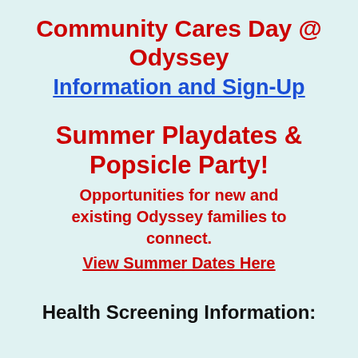Community Cares Day @ Odyssey
Information and Sign-Up
Summer Playdates & Popsicle Party!
Opportunities for new and existing Odyssey families to connect.
View Summer Dates Here
Health Screening Information: